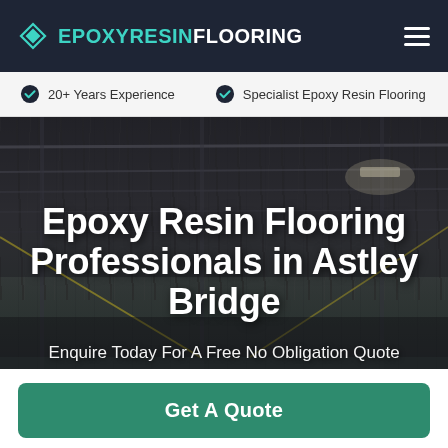EPOXY RESIN FLOORING
20+ Years Experience
Specialist Epoxy Resin Flooring
[Figure (photo): Interior of an industrial building with epoxy-coated floor, steel ceiling structure with exposed beams and pipes, dimly lit warehouse space]
Epoxy Resin Flooring Professionals in Astley Bridge
Enquire Today For A Free No Obligation Quote
Get A Quote